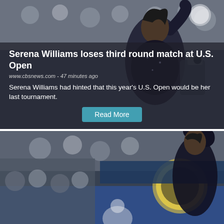[Figure (photo): Serena Williams raising her arm at the U.S. Open, crowd visible in background, wearing black outfit with sparkles]
Serena Williams loses third round match at U.S. Open
www.cbsnews.com - 47 minutes ago
Serena Williams had hinted that this year's U.S. Open would be her last tournament.
[Figure (photo): Serena Williams raising her hand at the U.S. Open, crowd and scoreboard visible in background, wearing black outfit]